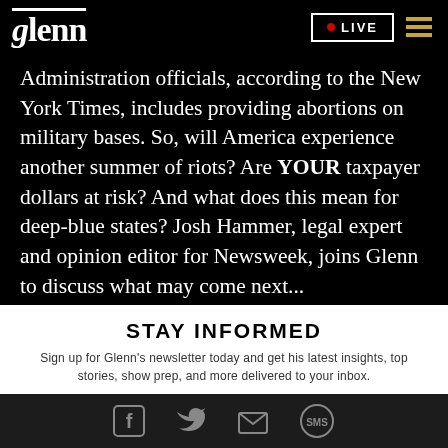glenn | LIVE
Administration officials, according to the New York Times, includes providing abortions on military bases. So, will America experience another summer of riots? Are YOUR taxpayer dollars at risk? And what does this mean for deep-blue states? Josh Hammer, legal expert and opinion editor for Newsweek, joins Glenn to discuss what may come next...
STAY INFORMED
Sign up for Glenn's newsletter today and get his latest insights, top stories, show prep, and more delivered to your inbox.
Social icons: Facebook, Twitter, Email, SMS